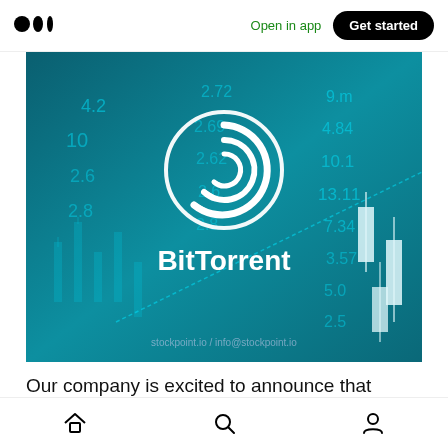Open in app | Get started
[Figure (photo): BitTorrent logo on a teal financial stock market candlestick chart background with numbers. Text: BitTorrent. Watermark: stockpoint.io / info@stockpoint.io]
Our company is excited to announce that
Home | Search | Profile